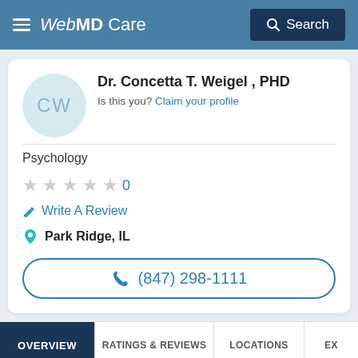WebMD Care | Search
Dr. Concetta T. Weigel , PHD
Is this you? Claim your profile
Psychology
★★★★★ 0
Write A Review
Park Ridge, IL
(847) 298-1111
OVERVIEW | RATINGS & REVIEWS | LOCATIONS | EX